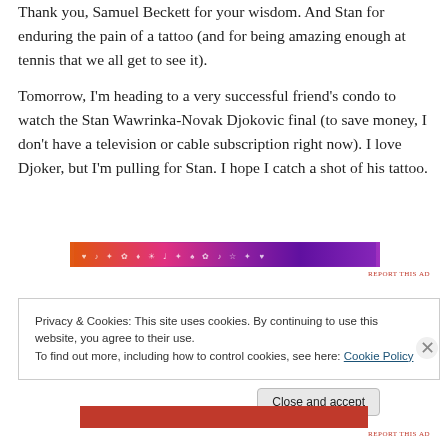Thank you, Samuel Beckett for your wisdom. And Stan for enduring the pain of a tattoo (and for being amazing enough at tennis that we all get to see it).
Tomorrow, I'm heading to a very successful friend's condo to watch the Stan Wawrinka-Novak Djokovic final (to save money, I don't have a television or cable subscription right now). I love Djoker, but I'm pulling for Stan. I hope I catch a shot of his tattoo.
[Figure (other): Decorative advertisement banner with gradient from orange to purple with small decorative symbols]
REPORT THIS AD
Privacy & Cookies: This site uses cookies. By continuing to use this website, you agree to their use.
To find out more, including how to control cookies, see here: Cookie Policy
Close and accept